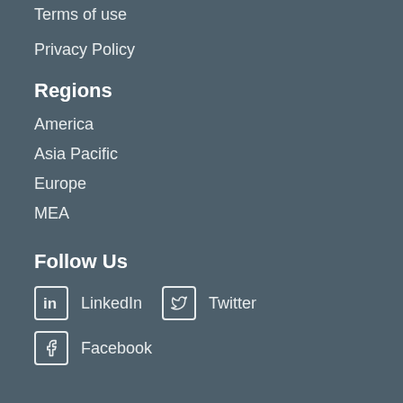Terms of use
Privacy Policy
Regions
America
Asia Pacific
Europe
MEA
Follow Us
LinkedIn  Twitter
Facebook